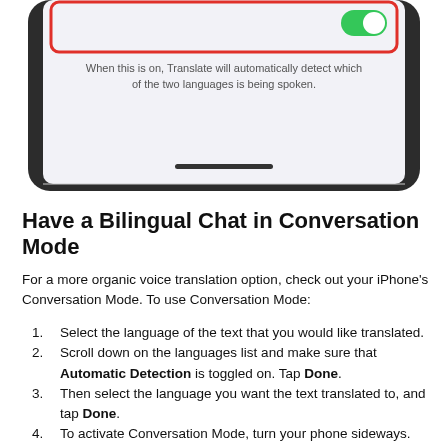[Figure (screenshot): Bottom portion of an iPhone screen showing a settings toggle with red outline and text: 'When this is on, Translate will automatically detect which of the two languages is being spoken.' with a home bar at the bottom, inside a dark phone bezel.]
Have a Bilingual Chat in Conversation Mode
For a more organic voice translation option, check out your iPhone's Conversation Mode. To use Conversation Mode:
Select the language of the text that you would like translated.
Scroll down on the languages list and make sure that Automatic Detection is toggled on. Tap Done.
Then select the language you want the text translated to, and tap Done.
To activate Conversation Mode, turn your phone sideways.